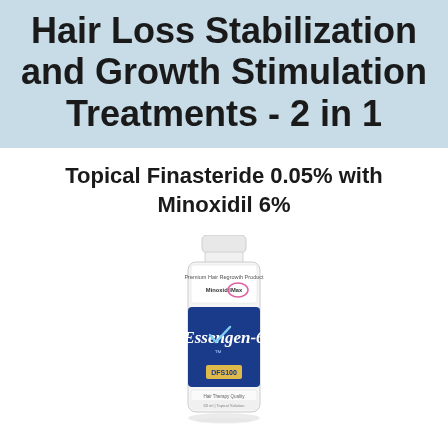Hair Loss Stabilization and Growth Stimulation Treatments - 2 in 1
Topical Finasteride 0.05% with Minoxidil 6%
[Figure (photo): A small white bottle labeled 'Essengen-6' with a blue label, branded as a Minoxidil/Finasteride topical solution product by MinoxidilMax.]